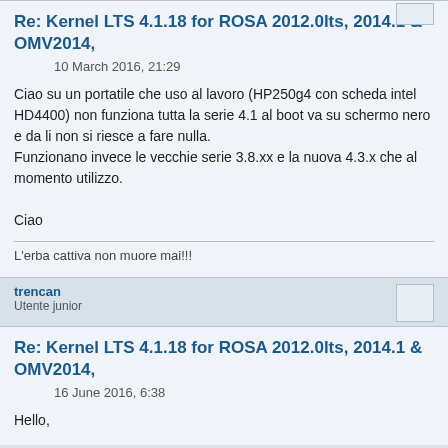Re: Kernel LTS 4.1.18 for ROSA 2012.0lts, 2014.1 & OMV2014,
10 March 2016, 21:29
Ciao su un portatile che uso al lavoro (HP250g4 con scheda intel HD4400) non funziona tutta la serie 4.1 al boot va su schermo nero e da li non si riesce a fare nulla.
Funzionano invece le vecchie serie 3.8.xx e la nuova 4.3.x che al momento utilizzo.

Ciao
L'erba cattiva non muore mai!!!
trencan
Utente junior
Re: Kernel LTS 4.1.18 for ROSA 2012.0lts, 2014.1 & OMV2014,
16 June 2016, 6:38
Hello,